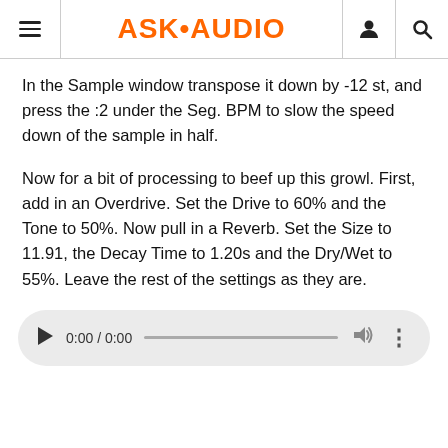ASK•AUDIO
In the Sample window transpose it down by -12 st, and press the :2 under the Seg. BPM to slow the speed down of the sample in half.
Now for a bit of processing to beef up this growl. First, add in an Overdrive. Set the Drive to 60% and the Tone to 50%. Now pull in a Reverb. Set the Size to 11.91, the Decay Time to 1.20s and the Dry/Wet to 55%. Leave the rest of the settings as they are.
[Figure (screenshot): Audio player widget showing 0:00 / 0:00 with play button, progress bar, volume icon, and more options icon on a light grey rounded rectangle background.]